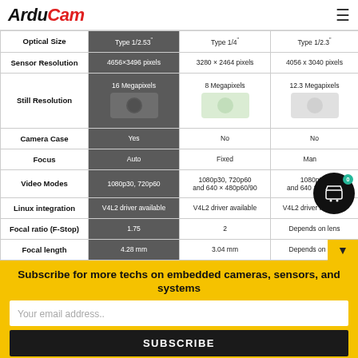ArduCam
|  | Type 1/2.53" | Type 1/4" | Type 1/2.3" |
| --- | --- | --- | --- |
| Optical Size | Type 1/2.53" | Type 1/4" | Type 1/2.3" |
| Sensor Resolution | 4656×3496 pixels | 3280 × 2464 pixels | 4056 x 3040 pixels |
| Still Resolution | 16 Megapixels | 8 Megapixels | 12.3 Megapixels |
| Camera Case | Yes | No | No |
| Focus | Auto | Fixed | Manual |
| Video Modes | 1080p30, 720p60 | 1080p30, 720p60 and 640 × 480p60/90 | 1080p30, ... and 640 × 480p... |
| Linux integration | V4L2 driver available | V4L2 driver available | V4L2 driver available |
| Focal ratio (F-Stop) | 1.75 | 2 | Depends on lens |
| Focal length | 4.28 mm | 3.04 mm | Depends on... |
Subscribe for more techs on embedded cameras, sensors, and systems